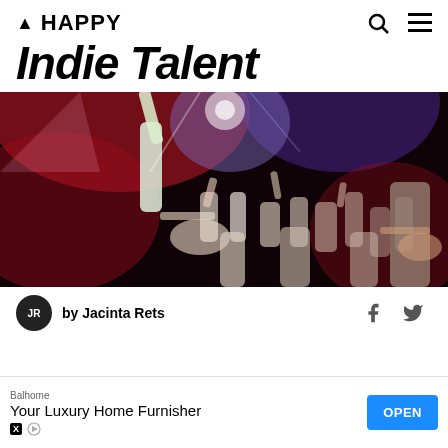▲ HAPPY
Indie Talent
[Figure (photo): Concert photo showing a guitarist performing on stage with crowd below under red and purple stage lights]
by Jacinta Rets
[Figure (infographic): Advertisement banner: Balhome - Your Luxury Home Furnisher with OPEN button]